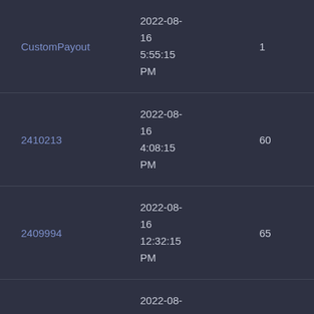| CustomPayout | 2022-08-16 5:55:15 PM | 1 | 0 |
| 2410213 | 2022-08-16 4:08:15 PM | 60 | 85253 |
| 2409994 | 2022-08-16 12:32:15 PM | 65 | 172 |
| 2409993 | 2022-08-16 12:30:15 PM | 56 | 6621 |